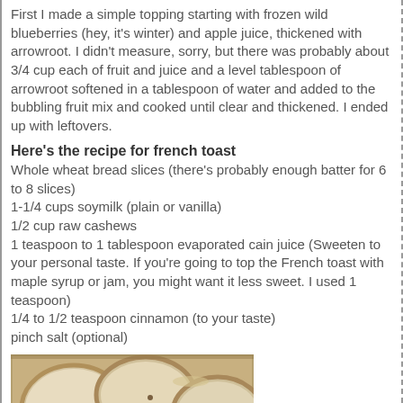First I made a simple topping starting with frozen wild blueberries (hey, it's winter) and apple juice, thickened with arrowroot. I didn't measure, sorry, but there was probably about 3/4 cup each of fruit and juice and a level tablespoon of arrowroot softened in a tablespoon of water and added to the bubbling fruit mix and cooked until clear and thickened. I ended up with leftovers.
Here's the recipe for french toast
Whole wheat bread slices (there's probably enough batter for 6 to 8 slices)
1-1/4 cups soymilk (plain or vanilla)
1/2 cup raw cashews
1 teaspoon to 1 tablespoon evaporated cain juice (Sweeten to your personal taste. If you're going to top the French toast with maple syrup or jam, you might want it less sweet. I used 1 teaspoon)
1/4 to 1/2 teaspoon cinnamon (to your taste)
pinch salt (optional)
[Figure (photo): Photo of french toast bread slices soaking in batter in a baking dish, viewed from above. Bread slices appear coated in a light creamy batter.]